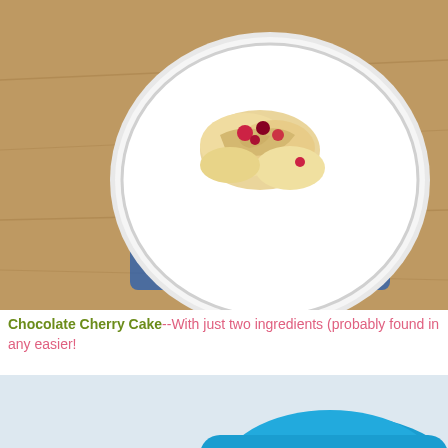[Figure (photo): Overhead view of a white plate with a blue napkin on a wooden table, containing bread pudding or pastry with cherries]
Chocolate Cherry Cake--With just two ingredients (probably found in any easier!
[Figure (photo): Close-up of a chocolate cherry cake on a white plate with a blue bowl in the background]